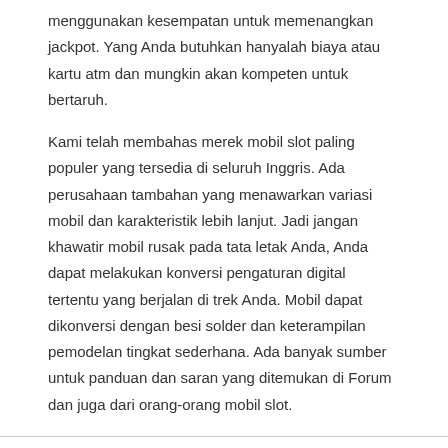menggunakan kesempatan untuk memenangkan jackpot. Yang Anda butuhkan hanyalah biaya atau kartu atm dan mungkin akan kompeten untuk bertaruh.
Kami telah membahas merek mobil slot paling populer yang tersedia di seluruh Inggris. Ada perusahaan tambahan yang menawarkan variasi mobil dan karakteristik lebih lanjut. Jadi jangan khawatir mobil rusak pada tata letak Anda, Anda dapat melakukan konversi pengaturan digital tertentu yang berjalan di trek Anda. Mobil dapat dikonversi dengan besi solder dan keterampilan pemodelan tingkat sederhana. Ada banyak sumber untuk panduan dan saran yang ditemukan di Forum dan juga dari orang-orang mobil slot.
Quick Fix Weight Loss
Business / By Michael Smith